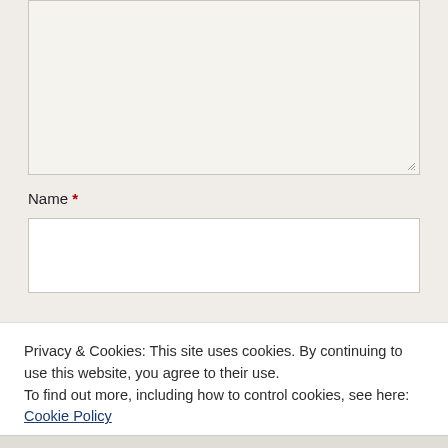[Figure (screenshot): Empty textarea form field with a resize handle at bottom-right corner, on a light beige background]
Name *
[Figure (screenshot): Empty text input field for Name, white background with border]
Privacy & Cookies: This site uses cookies. By continuing to use this website, you agree to their use.
To find out more, including how to control cookies, see here: Cookie Policy
Close and accept